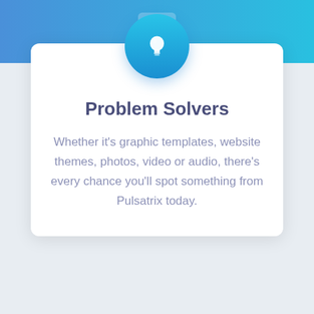[Figure (illustration): Blue gradient header bar with a hamburger menu icon (three white horizontal lines) in a rounded rectangle button, centered in the header.]
[Figure (illustration): White card with a blue gradient circle icon containing a white lightbulb symbol at the top center.]
Problem Solvers
Whether it's graphic templates, website themes, photos, video or audio, there's every chance you'll spot something from Pulsatrix today.